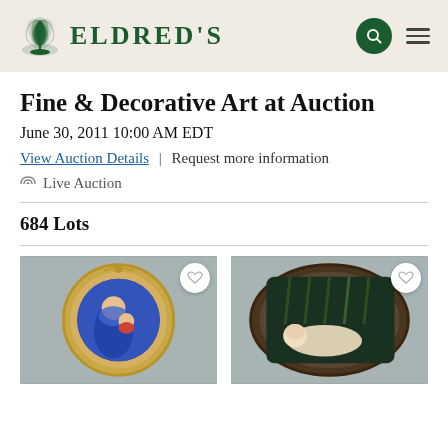ELDRED'S
Fine & Decorative Art at Auction
June 30, 2011 10:00 AM EDT
View Auction Details | Request more information
Live Auction
684 Lots
[Figure (photo): Round ornate gold-framed painting of Madonna and child]
[Figure (photo): Oval dark-framed painting of a reclining infant/cherub]